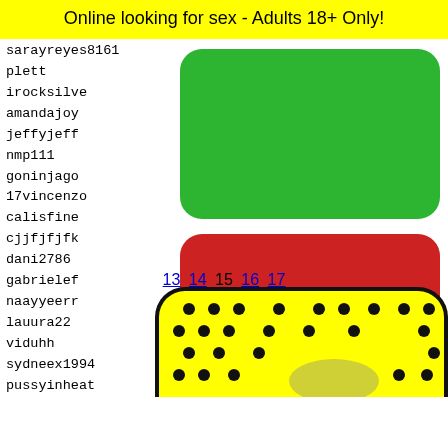Online looking for sex - Adults 18+ Only!
sarayreyes8161
plett
irocksilve...
amandajoy...
jeffyjeff...
nmp111
goninjago...
17vincenzo
calisfine...
cjjfjfjfk...
dani2786
gabrielef...
naayyeerr...
lauura22
viduhh
sydneex1994
pussyinheat
candeezgz10
friendlyfirex
kntlbg
katali...
peppe1...
mac71v...
paulaa...
manuko...
[Figure (other): Green rounded rectangle button (no text)]
[Figure (other): Red rounded rectangle button with EXIT text in white]
13 14 15 16 17
[Figure (illustration): Yellow rounded rectangle with black dot pattern (Snapchat ghost icon partial)]